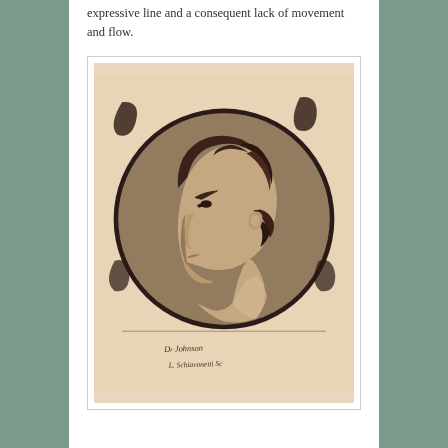expressive line and a consequent lack of movement and flow.
[Figure (illustration): An engraved portrait of a man in profile facing left, with curly hair and classical bust appearance, set within a circular frame on a tan/parchment background. Below the portrait is handwritten cursive text that appears to be a signature or inscription.]